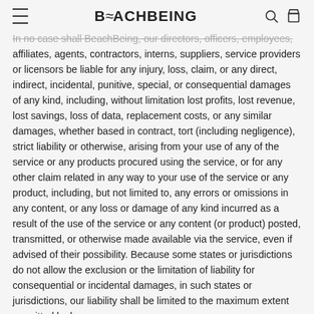BeachBeing
In no case shall BeachBeing, our directors, officers, employees, affiliates, agents, contractors, interns, suppliers, service providers or licensors be liable for any injury, loss, claim, or any direct, indirect, incidental, punitive, special, or consequential damages of any kind, including, without limitation lost profits, lost revenue, lost savings, loss of data, replacement costs, or any similar damages, whether based in contract, tort (including negligence), strict liability or otherwise, arising from your use of any of the service or any products procured using the service, or for any other claim related in any way to your use of the service or any product, including, but not limited to, any errors or omissions in any content, or any loss or damage of any kind incurred as a result of the use of the service or any content (or product) posted, transmitted, or otherwise made available via the service, even if advised of their possibility. Because some states or jurisdictions do not allow the exclusion or the limitation of liability for consequential or incidental damages, in such states or jurisdictions, our liability shall be limited to the maximum extent permitted by law.